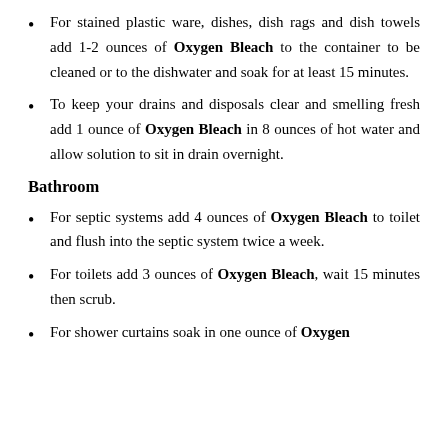For stained plastic ware, dishes, dish rags and dish towels add 1-2 ounces of Oxygen Bleach to the container to be cleaned or to the dishwater and soak for at least 15 minutes.
To keep your drains and disposals clear and smelling fresh add 1 ounce of Oxygen Bleach in 8 ounces of hot water and allow solution to sit in drain overnight.
Bathroom
For septic systems add 4 ounces of Oxygen Bleach to toilet and flush into the septic system twice a week.
For toilets add 3 ounces of Oxygen Bleach, wait 15 minutes then scrub.
For shower curtains soak in one ounce of Oxygen